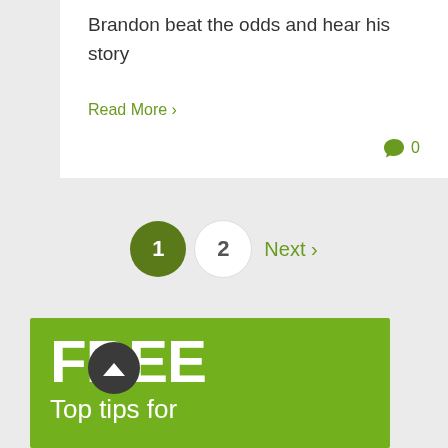Brandon beat the odds and hear his story
Read More >
0
1  2  Next >
FREE
Top tips for